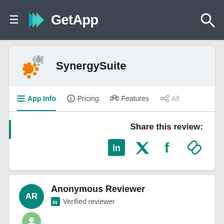GetApp
SynergySuite
App Info | Pricing | Features | Alt
Share this review:
[Figure (other): Social share icons: LinkedIn, Twitter, Facebook, Link]
Anonymous Reviewer
Verified reviewer